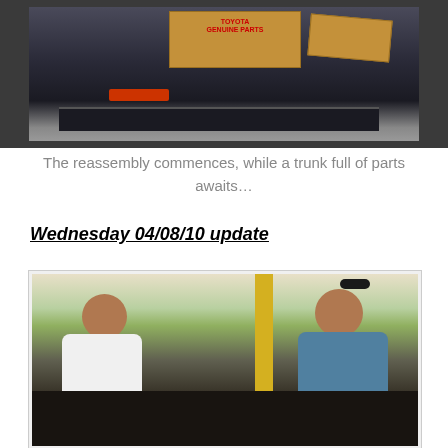[Figure (photo): A dark-colored car trunk open with Toyota Genuine Parts cardboard boxes inside, showing the rear bumper and tail lights.]
The reassembly commences, while a trunk full of parts awaits…
Wednesday 04/08/10 update
[Figure (photo): Two mechanics working on a car engine, one on the left smiling and wearing a white shirt, one on the right wearing a blue shirt and sunglasses on his head.]